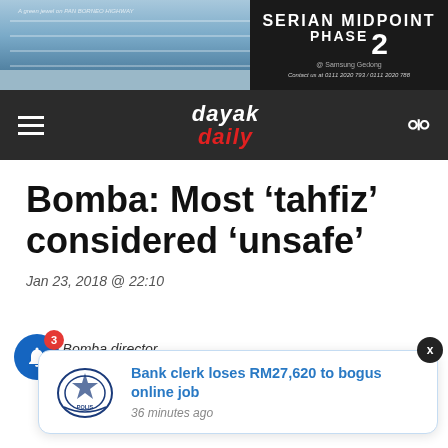[Figure (other): Banner advertisement for Serian Midpoint Phase 2 property development, showing a building image on the left and text on dark background on the right reading: SERIAN MIDPOINT PHASE 2, @ Samsung Gedong, Contact us at 0111 2020 793 / 0111 2020 788]
dayak daily — navigation bar with hamburger menu and search icon
Bomba: Most ‘tahfiz’ considered ‘unsafe’
Jan 23, 2018 @ 22:10
State Bomba director
[Figure (other): Pop-up notification showing Royal Malaysia Police logo and text: Bank clerk loses RM27,620 to bogus online job, 36 minutes ago]